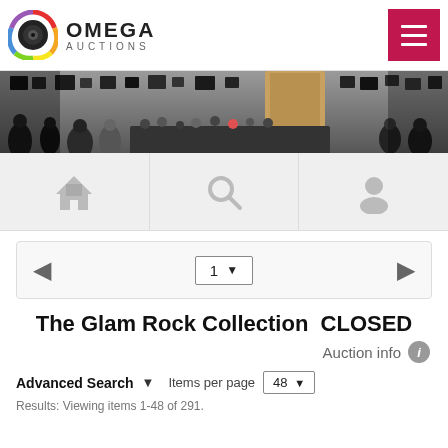OMEGA AUCTIONS
[Figure (photo): Wide banner photo showing an auction gallery room with crowd of attendees seated and standing, framed artworks on white walls]
[Figure (infographic): Navigation icons row: home icon, search/magnifying glass icon, user/profile icon]
[Figure (infographic): Pagination bar with left arrow, page selector dropdown showing '1', and right arrow]
The Glam Rock Collection  CLOSED
Auction info
Advanced Search ▼  Items per page  48 ▾
Results: Viewing items 1-48 of 291.